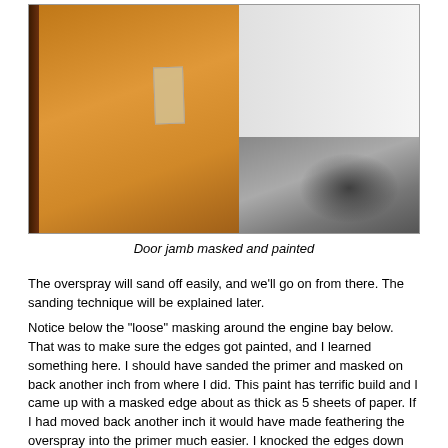[Figure (photo): A car door jamb that has been masked with tape and painted orange/brown. The door panel is visible leaning against a wall, with tape masking along the edges. The floor is visible in the background.]
Door jamb masked and painted
The overspray will sand off easily, and we'll go on from there. The sanding technique will be explained later.
Notice below the "loose" masking around the engine bay below. That was to make sure the edges got painted, and I learned something here. I should have sanded the primer and masked on back another inch from where I did. This paint has terrific build and I came up with a masked edge about as thick as 5 sheets of paper. If I had moved back another inch it would have made feathering the overspray into the primer much easier. I knocked the edges down with 120 dry paper wrapped on a stick; more sanding later.